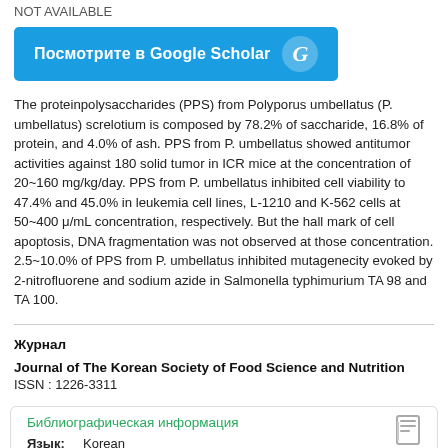NOT AVAILABLE
[Figure (other): Blue Google Scholar button with text 'Посмотрите в Google Scholar' and Google G logo]
The proteinpolysaccharides (PPS) from Polyporus umbellatus (P. umbellatus) screlotium is composed by 78.2% of saccharide, 16.8% of protein, and 4.0% of ash. PPS from P. umbellatus showed antitumor activities against 180 solid tumor in ICR mice at the concentration of 20~160 mg/kg/day. PPS from P. umbellatus inhibited cell viability to 47.4% and 45.0% in leukemia cell lines, L-1210 and K-562 cells at 50~400 μ/mL concentration, respectively. But the hall mark of cell apoptosis, DNA fragmentation was not observed at those concentration. 2.5~10.0% of PPS from P. umbellatus inhibited mutagenecity evoked by 2-nitrofluorene and sodium azide in Salmonella typhimurium TA 98 and TA 100.
Журнал
Journal of The Korean Society of Food Science and Nutrition
ISSN : 1226-3311
Библиографическая информация
Язык: Korean